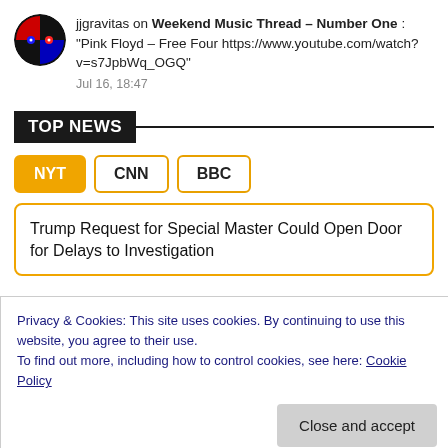jjgravitas on Weekend Music Thread – Number One : "Pink Floyd – Free Four https://www.youtube.com/watch?v=s7JpbWq_OGQ"
Jul 16, 18:47
TOP NEWS
NYT  CNN  BBC
Trump Request for Special Master Could Open Door for Delays to Investigation
Privacy & Cookies: This site uses cookies. By continuing to use this website, you agree to their use.
To find out more, including how to control cookies, see here: Cookie Policy
Close and accept